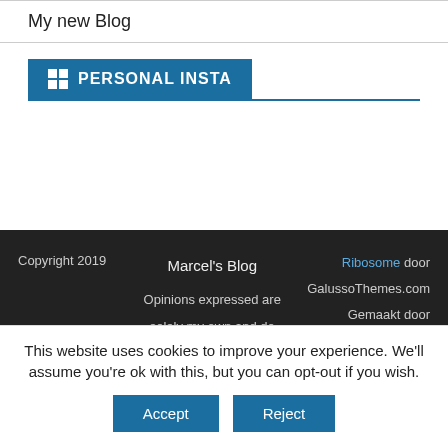My new Blog
PERSONAL INSTA
Copyright 2019  Marcel's Blog  Opinions expressed are solely my own and do not express the views or opinions of my employer, clients,  Ribosome door GalussoThemes.com  Gemaakt door WordPress
This website uses cookies to improve your experience. We'll assume you're ok with this, but you can opt-out if you wish.